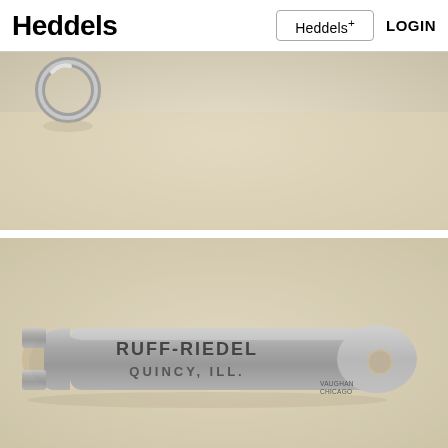Heddels | Heddels+ | LOGIN
[Figure (photo): Close-up photo of a metal ring or buckle on a light beige/tan background]
[Figure (photo): Photo of a metal bottle opener/wrench tool with text engraved: RUFF-RIEDEL QUINCY, ILL. and VAUGHAN CHICAGO in smaller text at the bottom right]